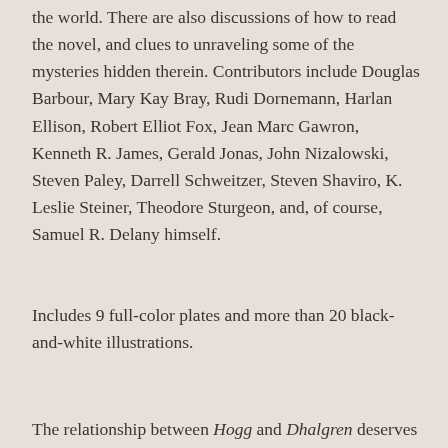the world. There are also discussions of how to read the novel, and clues to unraveling some of the mysteries hidden therein. Contributors include Douglas Barbour, Mary Kay Bray, Rudi Dornemann, Harlan Ellison, Robert Elliot Fox, Jean Marc Gawron, Kenneth R. James, Gerald Jonas, John Nizalowski, Steven Paley, Darrell Schweitzer, Steven Shaviro, K. Leslie Steiner, Theodore Sturgeon, and, of course, Samuel R. Delany himself.
Includes 9 full-color plates and more than 20 black-and-white illustrations.
The relationship between Hogg and Dhalgren deserves more scholarly attention than it has so far received; the two novels benefit from being read together.-Matthew Cheney, Modernist Crisis and the Pedagogy of Form